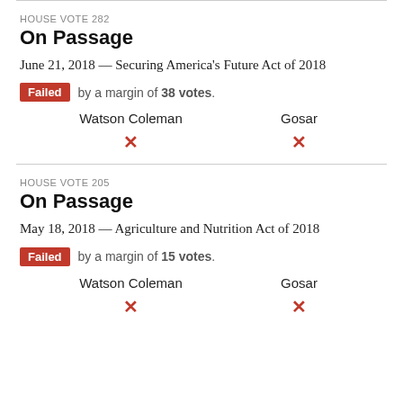HOUSE VOTE 282
On Passage
June 21, 2018 — Securing America's Future Act of 2018
Failed by a margin of 38 votes.
| Watson Coleman | Gosar |
| --- | --- |
| ✕ | ✕ |
HOUSE VOTE 205
On Passage
May 18, 2018 — Agriculture and Nutrition Act of 2018
Failed by a margin of 15 votes.
| Watson Coleman | Gosar |
| --- | --- |
| ✕ | ✕ |